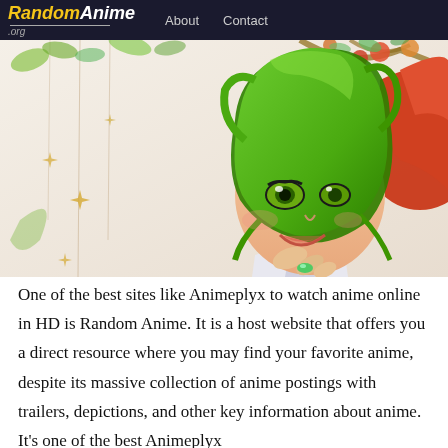RandomAnime.org | About | Contact
[Figure (illustration): Anime illustration showing a character with bright green hair smiling, with another red-haired character partly visible on the right, and decorative tree branches with fruits and star ornaments on the left side.]
One of the best sites like Animeplyx to watch anime online in HD is Random Anime. It is a host website that offers you a direct resource where you may find your favorite anime, despite its massive collection of anime postings with trailers, depictions, and other key information about anime. It's one of the best Animeplyx